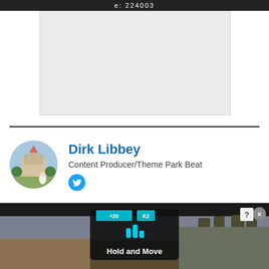e: 224003
[Figure (other): Gray placeholder box representing an image or advertisement area]
Dirk Libbey
Content Producer/Theme Park Beat
[Figure (screenshot): Advertisement banner showing a mobile game interface with 'Hold and Move' text, controllers, and outdoor background scene]